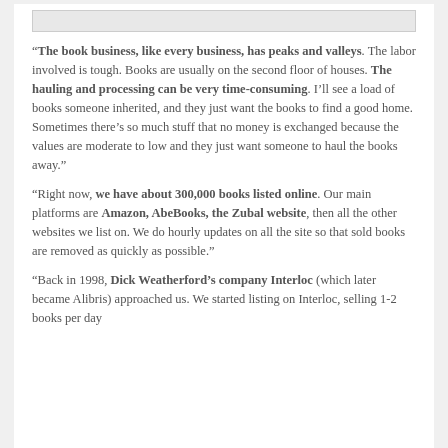[Figure (photo): Image placeholder at top of page]
“The book business, like every business, has peaks and valleys. The labor involved is tough. Books are usually on the second floor of houses. The hauling and processing can be very time-consuming. I’ll see a load of books someone inherited, and they just want the books to find a good home. Sometimes there’s so much stuff that no money is exchanged because the values are moderate to low and they just want someone to haul the books away.”
“Right now, we have about 300,000 books listed online. Our main platforms are Amazon, AbeBooks, the Zubal website, then all the other websites we list on. We do hourly updates on all the site so that sold books are removed as quickly as possible.”
“Back in 1998, Dick Weatherford’s company Interloc (which later became Alibris) approached us. We started listing on Interloc, selling 1-2 books per day